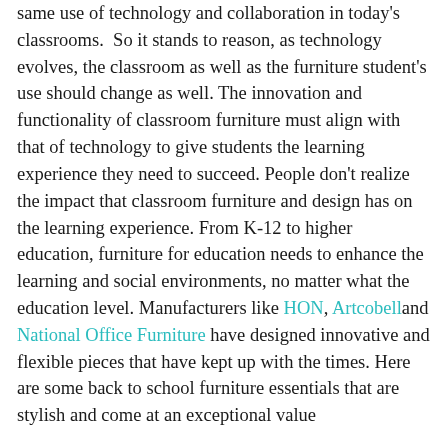same use of technology and collaboration in today's classrooms.  So it stands to reason, as technology evolves, the classroom as well as the furniture student's use should change as well. The innovation and functionality of classroom furniture must align with that of technology to give students the learning experience they need to succeed. People don't realize the impact that classroom furniture and design has on the learning experience. From K-12 to higher education, furniture for education needs to enhance the learning and social environments, no matter what the education level. Manufacturers like HON, Artcobell and National Office Furniture have designed innovative and flexible pieces that have kept up with the times. Here are some back to school furniture essentials that are stylish and come at an exceptional value